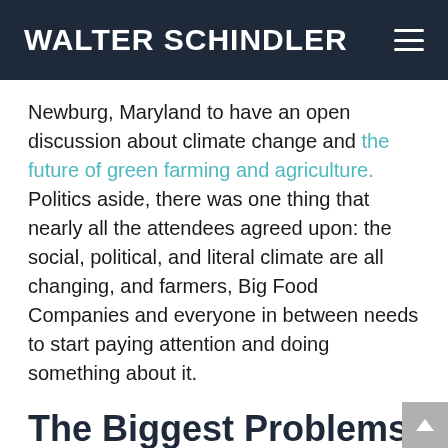WALTER SCHINDLER
Newburg, Maryland to have an open discussion about climate change and the future of green farming and agriculture. Politics aside, there was one thing that nearly all the attendees agreed upon: the social, political, and literal climate are all changing, and farmers, Big Food Companies and everyone in between needs to start paying attention and doing something about it.
The Biggest Problems We Face in Food Right Now
Some of the biggest problems facing the